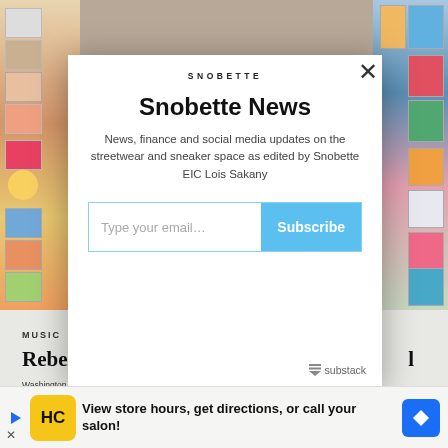[Figure (screenshot): Background of a record/music store with colorful album covers, partially obscured by modal dialog overlay]
[Figure (screenshot): Newsletter subscription modal for Snobette News with email input and Subscribe button, with close X button, powered by Substack]
MUSIC
Rebel
Washington D.C. born music singer/songwriter Rebel Roe has released...album...
[Figure (screenshot): Advertisement banner: View store hours, get directions, or call your salon! with HC logo and navigation arrow icon]